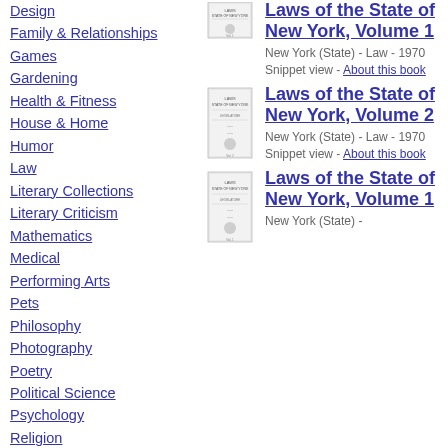Design
Family & Relationships
Games
Gardening
Health & Fitness
House & Home
Humor
Law
Literary Collections
Literary Criticism
Mathematics
Medical
Performing Arts
Pets
Philosophy
Photography
Poetry
Political Science
Psychology
Religion
Self-Help
Social Science
[Figure (illustration): Thumbnail of Laws of the State of New York Volume 1 book cover]
Laws of the State of New York, Volume 1
New York (State) - Law - 1970 Snippet view - About this book
[Figure (illustration): Thumbnail of Laws of the State of New York Volume 2 book cover]
Laws of the State of New York, Volume 2
New York (State) - Law - 1970 Snippet view - About this book
[Figure (illustration): Thumbnail of Laws of the State of New York Volume 1 book cover (second entry)]
Laws of the State of New York, Volume 1
New York (State) -